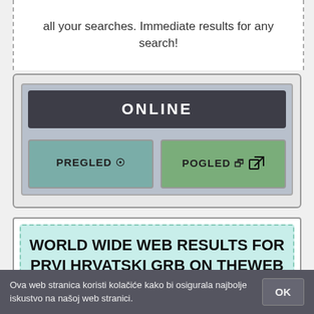all your searches. Immediate results for any search!
[Figure (screenshot): UI widget showing ONLINE status button with PREGLED (preview eye icon) and POGLED (external link icon) buttons]
WORLD WIDE WEB RESULTS FOR PRVI HRVATSKI GRB ON THEWEB
https://www.theweb.com/search?...
Ova web stranica koristi kolačiće kako bi osigurala najbolje iskustvo na našoj web stranici.
OK